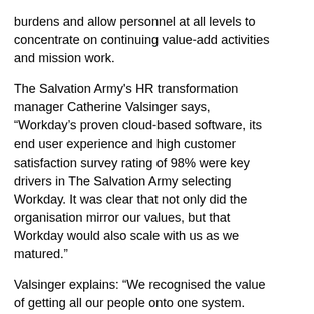burdens and allow personnel at all levels to concentrate on continuing value-add activities and mission work.
The Salvation Army's HR transformation manager Catherine Valsinger says, “Workday’s proven cloud-based software, its end user experience and high customer satisfaction survey rating of 98% were key drivers in The Salvation Army selecting Workday. It was clear that not only did the organisation mirror our values, but that Workday would also scale with us as we matured.”
Valsinger explains: “We recognised the value of getting all our people onto one system. Workday has removed many manual processes and disparate systems, and this has reduced organisational risk and allowed us to make evidence-based decisions with improved reporting.